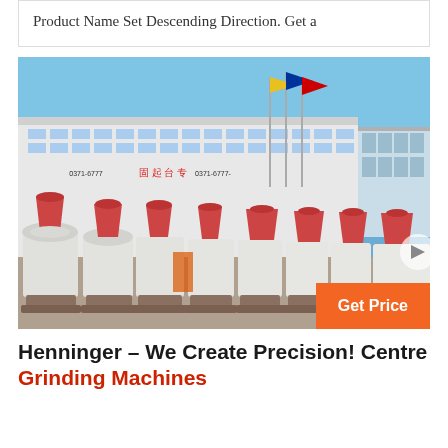Product Name Set Descending Direction. Get a
[Figure (photo): Row of large industrial grinding/milling machines (white, with red accents) lined up in front of a white factory building with flags, blue sky background. Orange 'Get Price' button overlay at bottom right.]
Henninger – We Create Precision! Centre Grinding Machines